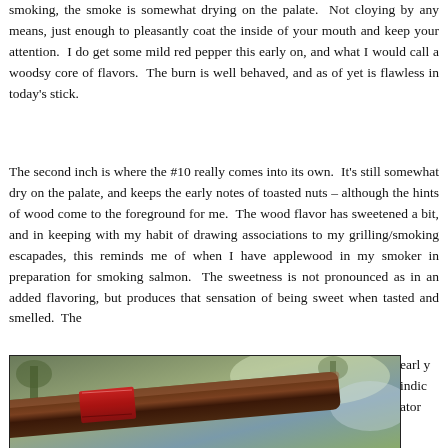smoking, the smoke is somewhat drying on the palate. Not cloying by any means, just enough to pleasantly coat the inside of your mouth and keep your attention. I do get some mild red pepper this early on, and what I would call a woodsy core of flavors. The burn is well behaved, and as of yet is flawless in today's stick.
The second inch is where the #10 really comes into its own. It's still somewhat dry on the palate, and keeps the early notes of toasted nuts – although the hints of wood come to the foreground for me. The wood flavor has sweetened a bit, and in keeping with my habit of drawing associations to my grilling/smoking escapades, this reminds me of when I have applewood in my smoker in preparation for smoking salmon. The sweetness is not pronounced as in an added flavoring, but produces that sensation of being sweet when tasted and smelled. The early indicator
[Figure (photo): Close-up photo of a cigar with red band/label visible, held or resting, with blurred outdoor background featuring trees and light.]